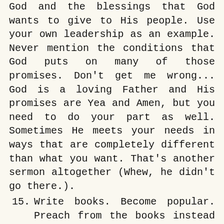God and the blessings that God wants to give to His people. Use your own leadership as an example. Never mention the conditions that God puts on many of those promises. Don't get me wrong... God is a loving Father and His promises are Yea and Amen, but you need to do your part as well. Sometimes He meets your needs in ways that are completely different than what you want. That's another sermon altogether (Whew, he didn't go there.).
15. Write books. Become popular. Preach from the books instead of the Bible. They're cheaper for the congregation to buy and it enhances your bottom line. This is especially true if you've got your own publishing company. By the way, there's a very large pseudo...